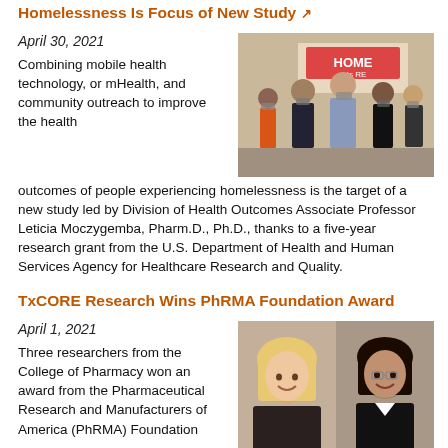Homelessness Is Focus of New Study
April 30, 2021
[Figure (photo): Group of people wearing masks, some clapping, standing outdoors near a sign that reads HOME]
Combining mobile health technology, or mHealth, and community outreach to improve the health outcomes of people experiencing homelessness is the target of a new study led by Division of Health Outcomes Associate Professor Leticia Moczygemba, Pharm.D., Ph.D., thanks to a five-year research grant from the U.S. Department of Health and Human Services Agency for Healthcare Research and Quality.
TxCORE Research Wins PhRMA Foundation Award
April 1, 2021
[Figure (photo): Three people posing for a photo: a woman with blonde hair, a woman with dark hair, and a man with glasses]
Three researchers from the College of Pharmacy won an award from the Pharmaceutical Research and Manufacturers of America (PhRMA) Foundation